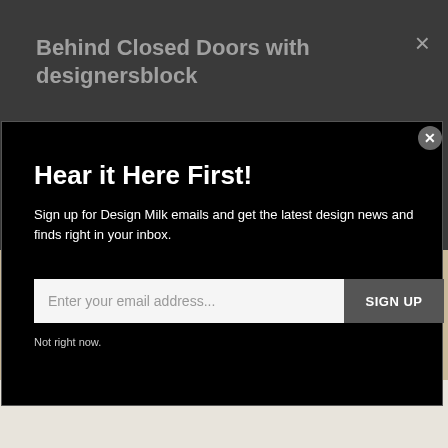Behind Closed Doors with designersblock
×
Hear it Here First!
Sign up for Design Milk emails and get the latest design news and finds right in your inbox.
Enter your email address...
SIGN UP
Not right now.
[Figure (photo): Background photo showing a wire cage and a dark bird, partially visible behind a black modal overlay]